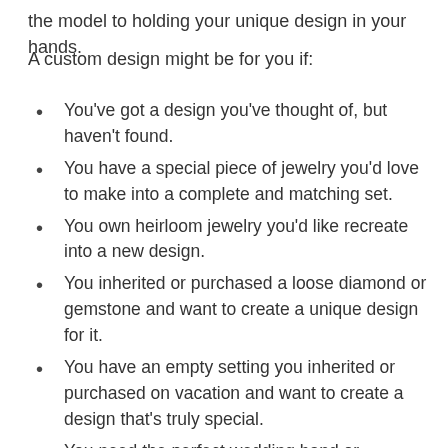the model to holding your unique design in your hands.
A custom design might be for you if:
You've got a design you've thought of, but haven't found.
You have a special piece of jewelry you'd love to make into a complete and matching set.
You own heirloom jewelry you'd like recreate into a new design.
You inherited or purchased a loose diamond or gemstone and want to create a unique design for it.
You have an empty setting you inherited or purchased on vacation and want to create a design that's truly special.
You need the perfect wedding band or anniversary ring to complement your engagement ring.